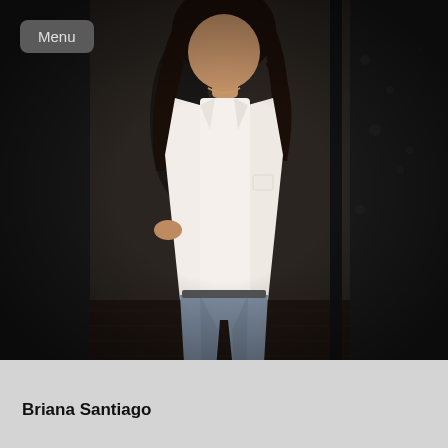[Figure (photo): A woman standing full-length, wearing a cream/white blazer over a white tank top, light blue skinny jeans, and brown ankle boots. She is posing with one hand on her hip. The background is dark, resembling an indoor setting. A menu button UI overlay is visible in the top-left corner.]
Briana Santiago